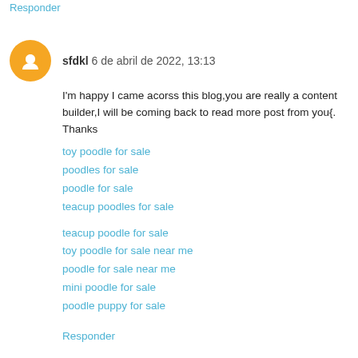Responder
sfdkl 6 de abril de 2022, 13:13
I'm happy I came acorss this blog,you are really a content builder,I will be coming back to read more post from you{. Thanks
toy poodle for sale
poodles for sale
poodle for sale
teacup poodles for sale
teacup poodle for sale
toy poodle for sale near me
poodle for sale near me
mini poodle for sale
poodle puppy for sale
Responder